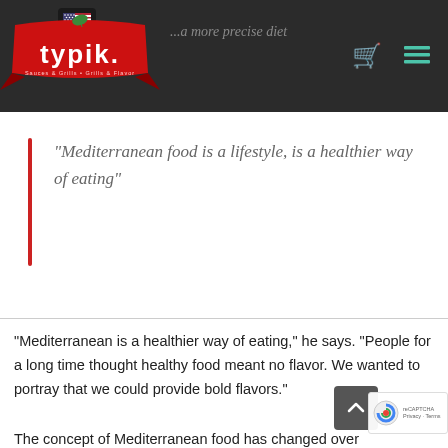[Figure (logo): Typik brand logo on dark background with US flag icon and navigation icons (cart and hamburger menu)]
“Mediterranean food is a lifestyle, is a healthier way of eating”
“Mediterranean is a healthier way of eating,” he says. “People for a long time thought healthy food meant no flavor. We wanted to portray that we could provide bold flavors.”
The concept of Mediterranean food has changed over the